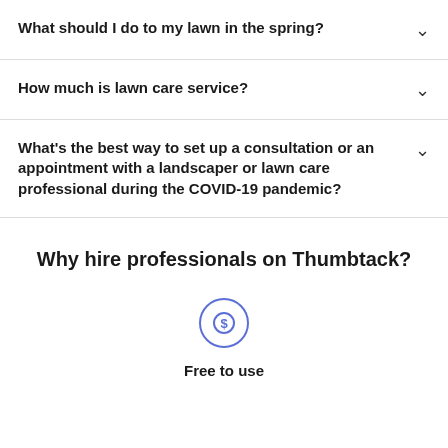What should I do to my lawn in the spring?
How much is lawn care service?
What's the best way to set up a consultation or an appointment with a landscaper or lawn care professional during the COVID-19 pandemic?
Why hire professionals on Thumbtack?
[Figure (illustration): Circle icon with a dollar sign ($) in blue/purple outline style]
Free to use